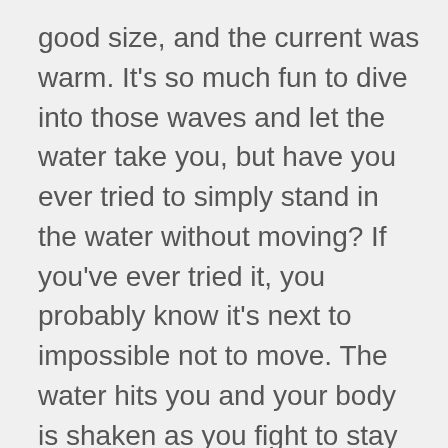good size, and the current was warm. It’s so much fun to dive into those waves and let the water take you, but have you ever tried to simply stand in the water without moving? If you’ve ever tried it, you probably know it’s next to impossible not to move. The water hits you and your body is shaken as you fight to stay afloat. Now imagine these waves are your emotions. How does it feel when you try to resist them? Fight against them? Swim away from them?

As I stood in that water, I realized that I don’t need to resist these waves